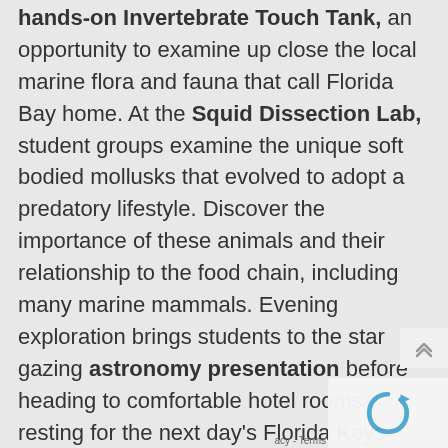hands-on Invertebrate Touch Tank, an opportunity to examine up close the local marine flora and fauna that call Florida Bay home. At the Squid Dissection Lab, student groups examine the unique soft bodied mollusks that evolved to adopt a predatory lifestyle. Discover the importance of these animals and their relationship to the food chain, including many marine mammals. Evening exploration brings students to the star gazing astronomy presentation before heading to comfortable hotel rooms resting for the next day's Florida Keys adventure.
In Key Largo, students begin their kayak adventure exploring the estuarine ecosystem. Groups paddle through mangrove...